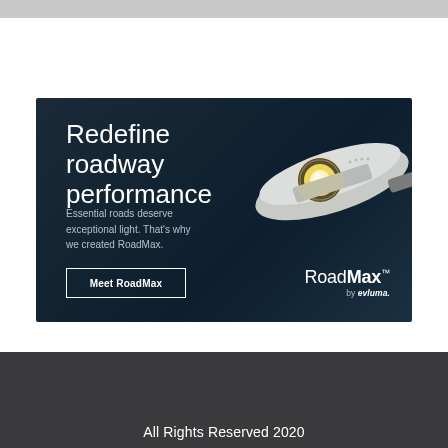[Figure (photo): Advertisement banner for RoadMax LED street light by evluma. Dark teal/navy background with an LED street light fixture on the right. Text reads: 'Redefine roadway performance'. Subtext: 'Essential roads deserve exceptional light. That's why we created RoadMax.' Button: 'Meet RoadMax'. Logo: 'RoadMax by evluma' in lower right.]
[Figure (infographic): Footer section with dark gray background containing social media icons (Facebook, Instagram, Twitter, LinkedIn), a red back-to-top arrow button, and 'All Rights Reserved 2020' text.]
All Rights Reserved 2020